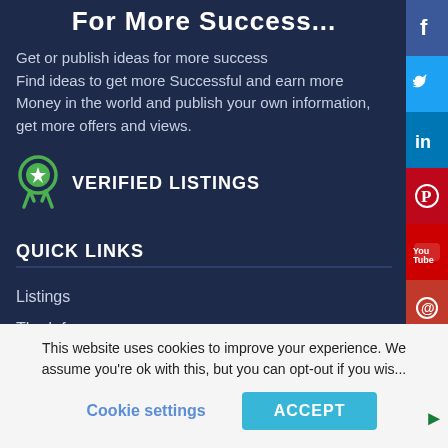For More Success...
Get or publish ideas for more success Find ideas to get more Successful and earn more Money in the world and publish your own information, get more offers and views.
VERIFIED LISTINGS
QUICK LINKS
Listings
The Info
News
Shop
[Figure (infographic): Social media sidebar icons: Facebook, Twitter, LinkedIn, Pinterest, YouTube, Email]
This website uses cookies to improve your experience. We assume you're ok with this, but you can opt-out if you wish.
Cookie settings   ACCEPT